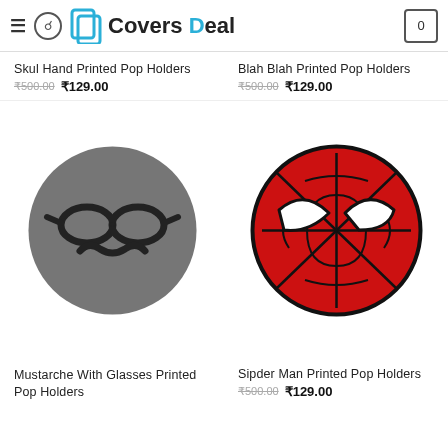Covers Deal
Skul Hand Printed Pop Holders ₹500.00 ₹129.00
Blah Blah Printed Pop Holders ₹500.00 ₹129.00
[Figure (illustration): Gray circle with black sunglasses and mustache design — Mustache With Glasses product]
[Figure (illustration): Red circle with Spider-Man mask design — Spider Man product]
Mustarche With Glasses Printed Pop Holders
Sipder Man Printed Pop Holders ₹500.00 ₹129.00